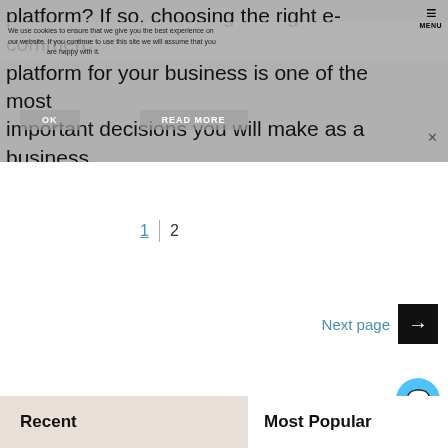platform? If so, choosing the right e-commerce platform for your business is one of the most important decisions you will make as a business owner. Thankfully, there is a huge variety of choice when it comes to e-commerce [...]
We use cookies to ensure that we give you the best experience on our website. If you continue to use this site we will assume that you are happy with it.
1 | 2
Next page →
Recent
Most Popular